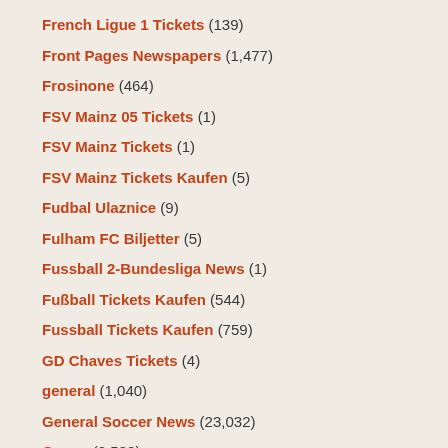French Ligue 1 Tickets (139)
Front Pages Newspapers (1,477)
Frosinone (464)
FSV Mainz 05 Tickets (1)
FSV Mainz Tickets (1)
FSV Mainz Tickets Kaufen (5)
Fudbal Ulaznice (9)
Fulham FC Biljetter (5)
Fussball 2-Bundesliga News (1)
Fußball Tickets Kaufen (544)
Fussball Tickets Kaufen (759)
GD Chaves Tickets (4)
general (1,040)
General Soccer News (23,032)
Genoa (2,530)